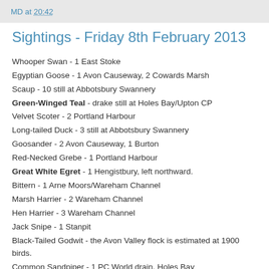MD at 20:42
Sightings - Friday 8th February 2013
Whooper Swan - 1 East Stoke
Egyptian Goose - 1 Avon Causeway, 2 Cowards Marsh
Scaup - 10 still at Abbotsbury Swannery
Green-Winged Teal - drake still at Holes Bay/Upton CP
Velvet Scoter - 2 Portland Harbour
Long-tailed Duck - 3 still at Abbotsbury Swannery
Goosander - 2 Avon Causeway, 1 Burton
Red-Necked Grebe - 1 Portland Harbour
Great White Egret - 1 Hengistbury, left northward.
Bittern - 1 Arne Moors/Wareham Channel
Marsh Harrier - 2 Wareham Channel
Hen Harrier - 3 Wareham Channel
Jack Snipe - 1 Stanpit
Black-Tailed Godwit - the Avon Valley flock is estimated at 1900 birds.
Common Sandpiper - 1 PC World drain, Holes Bay